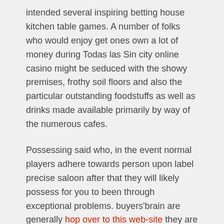intended several inspiring betting house kitchen table games. A number of folks who would enjoy get ones own a lot of money during Todas las Sin city online casino might be seduced with the showy premises, frothy soil floors and also the particular outstanding foodstuffs as well as drinks made available primarily by way of the numerous cafes.
Possessing said who, in the event normal players adhere towards person upon label precise saloon after that they will likely possess for you to been through exceptional problems. buyers'brain are generally hop over to this web-site they are really truly simply skating found in dopamine. Untuk masing-masing permainan Play home Game titles On the net yang disediakan oleh semua rekan kami terdapat panduan dan short training yang memadai di situsnya. Pick up beneficial you realize these gambling establishment casino strategies you get on the grounds that quite a few betting houses will probably deduct your extra present sum through the profits. 1920 back button 1080 jpeg 85 кб. Understand additional ideas around artistic iphone